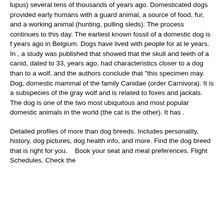lupus) several tens of thousands of years ago. Domesticated dogs provided early humans with a guard animal, a source of food, fur, and a working animal (hunting, pulling sleds). The process continues to this day. The earliest known fossil of a domestic dog is f years ago in Belgium. Dogs have lived with people for at le years. In , a study was published that showed that the skull and teeth of a canid, dated to 33, years ago, had characteristics closer to a dog than to a wolf, and the authors conclude that "this specimen may. Dog, domestic mammal of the family Canidae (order Carnivora). It is a subspecies of the gray wolf and is related to foxes and jackals. The dog is one of the two most ubiquitous and most popular domestic animals in the world (the cat is the other). It has .
Detailed profiles of more than dog breeds. Includes personality, history, dog pictures, dog health info, and more. Find the dog breed that is right for you.   Book your seat and meal preferences. Flight Schedules. Check the